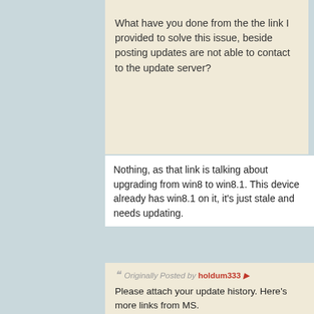What have you done from the the link I provided to solve this issue, beside posting updates are not able to contact to the update server?
Nothing, as that link is talking about upgrading from win8 to win8.1. This device already has win8.1 on it, it's just stale and needs updating.
Originally Posted by holdum333 ▸
Please attach your update history. Here's more links from MS.
https://support.microsoft.com/en-us/...ate-kb-2919355
https://support.microsoft.com/en-us/...update-history
I have to know more then just " Windows update and Windows Defender don't seem able to connect to update servers!😶